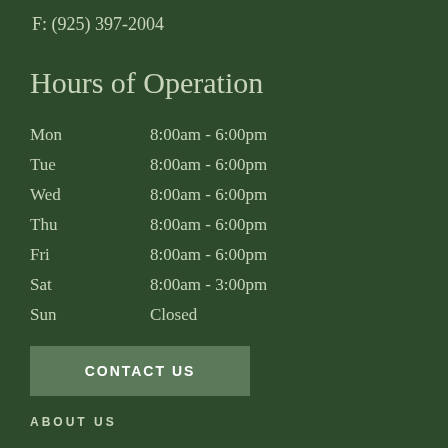F: (925) 397-2004
Hours of Operation
| Day | Hours |
| --- | --- |
| Mon | 8:00am - 6:00pm |
| Tue | 8:00am - 6:00pm |
| Wed | 8:00am - 6:00pm |
| Thu | 8:00am - 6:00pm |
| Fri | 8:00am - 6:00pm |
| Sat | 8:00am - 3:00pm |
| Sun | Closed |
CONTACT US
ABOUT US